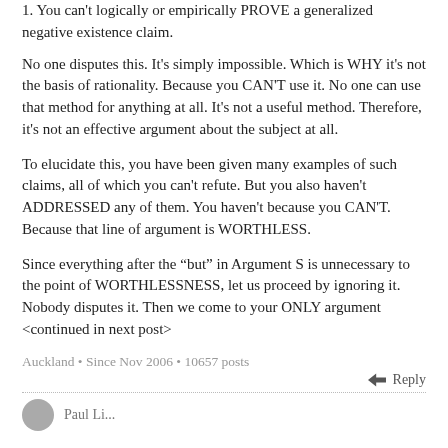1. You can't logically or empirically PROVE a generalized negative existence claim.
No one disputes this. It's simply impossible. Which is WHY it's not the basis of rationality. Because you CAN'T use it. No one can use that method for anything at all. It's not a useful method. Therefore, it's not an effective argument about the subject at all.
To elucidate this, you have been given many examples of such claims, all of which you can't refute. But you also haven't ADDRESSED any of them. You haven't because you CAN'T. Because that line of argument is WORTHLESS.
Since everything after the “but” in Argument S is unnecessary to the point of WORTHLESSNESS, let us proceed by ignoring it. Nobody disputes it. Then we come to your ONLY argument <continued in next post>
Auckland • Since Nov 2006 • 10657 posts